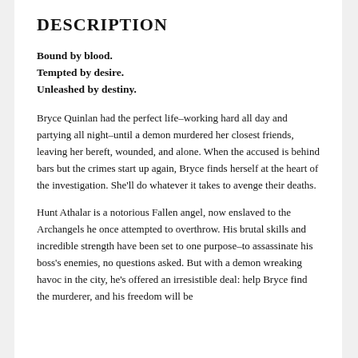DESCRIPTION
Bound by blood.
Tempted by desire.
Unleashed by destiny.
Bryce Quinlan had the perfect life–working hard all day and partying all night–until a demon murdered her closest friends, leaving her bereft, wounded, and alone. When the accused is behind bars but the crimes start up again, Bryce finds herself at the heart of the investigation. She'll do whatever it takes to avenge their deaths.
Hunt Athalar is a notorious Fallen angel, now enslaved to the Archangels he once attempted to overthrow. His brutal skills and incredible strength have been set to one purpose–to assassinate his boss's enemies, no questions asked. But with a demon wreaking havoc in the city, he's offered an irresistible deal: help Bryce find the murderer, and his freedom will be